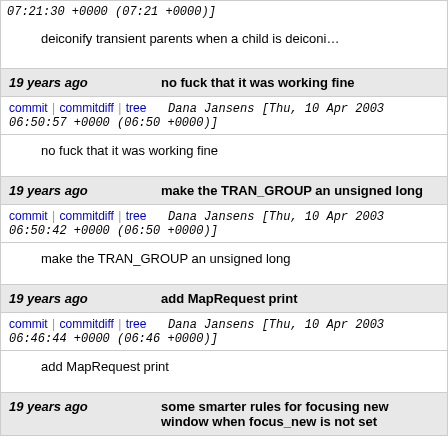07:21:30 +0000 (07:21 +0000)]
deiconify transient parents when a child is deiconi…
19 years ago   no fuck that it was working fine
commit | commitdiff | tree   Dana Jansens [Thu, 10 Apr 2003 06:50:57 +0000 (06:50 +0000)]
no fuck that it was working fine
19 years ago   make the TRAN_GROUP an unsigned long
commit | commitdiff | tree   Dana Jansens [Thu, 10 Apr 2003 06:50:42 +0000 (06:50 +0000)]
make the TRAN_GROUP an unsigned long
19 years ago   add MapRequest print
commit | commitdiff | tree   Dana Jansens [Thu, 10 Apr 2003 06:46:44 +0000 (06:46 +0000)]
add MapRequest print
19 years ago   some smarter rules for focusing new window when focus_new is not set